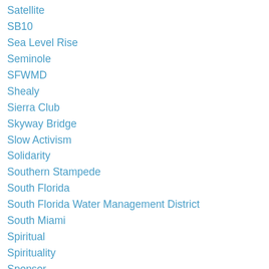Satellite
SB10
Sea Level Rise
Seminole
SFWMD
Shealy
Sierra Club
Skyway Bridge
Slow Activism
Solidarity
Southern Stampede
South Florida
South Florida Water Management District
South Miami
Spiritual
Spirituality
Sponsor
Sponsorship
SS14
Star Gala